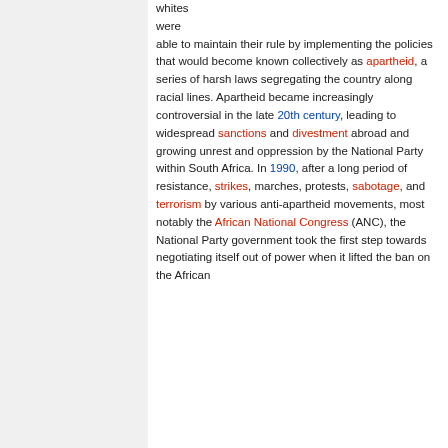whites were able to maintain their rule by implementing the policies that would become known collectively as apartheid, a series of harsh laws segregating the country along racial lines. Apartheid became increasingly controversial in the late 20th century, leading to widespread sanctions and divestment abroad and growing unrest and oppression by the National Party within South Africa. In 1990, after a long period of resistance, strikes, marches, protests, sabotage, and terrorism by various anti-apartheid movements, most notably the African National Congress (ANC), the National Party government took the first step towards negotiating itself out of power when it lifted the ban on the African National Congress and the African